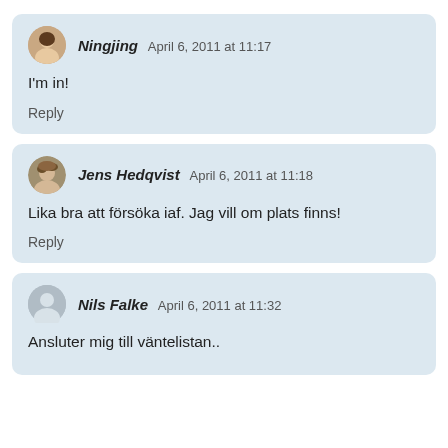Ningjing April 6, 2011 at 11:17
I'm in!
Reply
Jens Hedqvist April 6, 2011 at 11:18
Lika bra att försöka iaf. Jag vill om plats finns!
Reply
Nils Falke April 6, 2011 at 11:32
Ansluter mig till väntelistan..